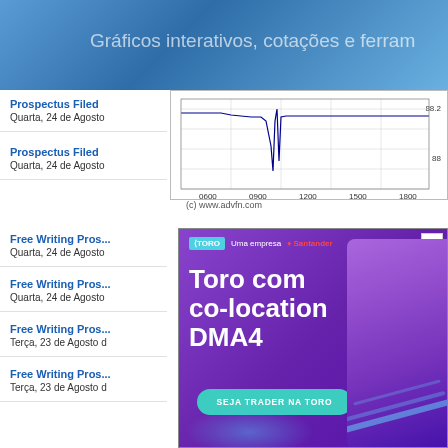Gráficos interativos, cotações e ferram
Prospectus Filed
Quarta, 24 de Agosto
Prospectus Filed
Quarta, 24 de Agosto
[Figure (continuous-plot): Intraday stock price chart showing price range around 88-88.2, time axis from 0600 to 1800, source: (c) www.advfn.com]
(c) www.advfn.com
Free Writing Pros...
Quarta, 24 de Agosto
Free Writing Pros...
Quarta, 24 de Agosto
Free Writing Pros...
Terça, 23 de Agosto d
Free Writing Pros...
Terça, 23 de Agosto d
[Figure (illustration): Advertisement overlay for Toro co-location DMA4 trading platform by Toro and Santander. Purple background with person at trading terminal. Button: SEJA TRADER NA TORO]